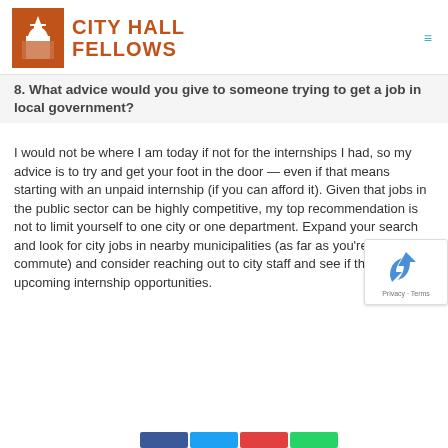[Figure (logo): City Hall Fellows logo with orange building icon and orange text reading CITY HALL FELLOWS]
8. What advice would you give to someone trying to get a job in local government?
I would not be where I am today if not for the internships I had, so my advice is to try and get your foot in the door — even if that means starting with an unpaid internship (if you can afford it). Given that jobs in the public sector can be highly competitive, my top recommendation is not to limit yourself to one city or one department. Expand your search and look for city jobs in nearby municipalities (as far as you're willing to commute) and consider reaching out to city staff and see if there are any upcoming internship opportunities.